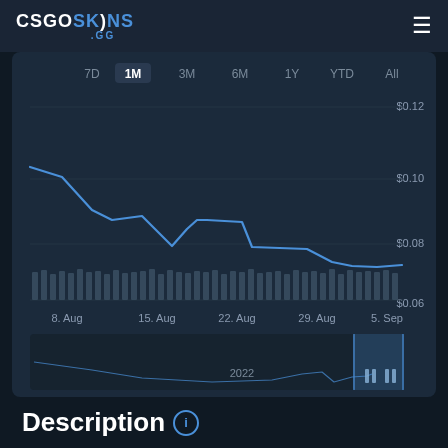CSGOSKINS.GG
[Figure (line-chart): CS:GO Skin Price Chart – 1M]
Description